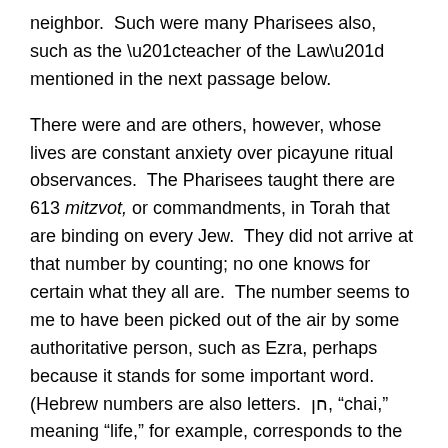neighbor.  Such were many Pharisees also, such as the “teacher of the Law” mentioned in the next passage below.
There were and are others, however, whose lives are constant anxiety over picayune ritual observances.  The Pharisees taught there are 613 mitzvot, or commandments, in Torah that are binding on every Jew.  They did not arrive at that number by counting; no one knows for certain what they all are.  The number seems to me to have been picked out of the air by some authoritative person, such as Ezra, perhaps because it stands for some important word.  (Hebrew numbers are also letters.  חן, “chai,” meaning “life,” for example, corresponds to the number 18.)  The elaborations on the mitzvot are spelled out in the Talmud, a monumental text that, at the customary rate of “a page a day,” takes 7½ years to learn.